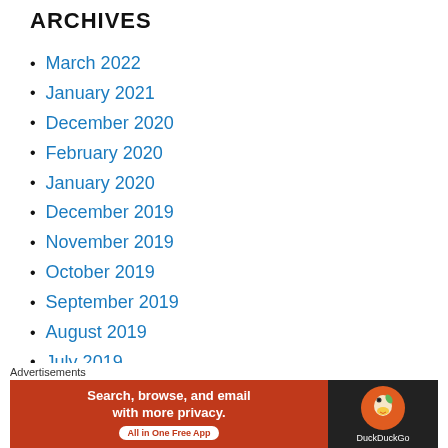ARCHIVES
March 2022
January 2021
December 2020
February 2020
January 2020
December 2019
November 2019
October 2019
September 2019
August 2019
July 2019
February 2019
[Figure (screenshot): DuckDuckGo advertisement banner: 'Search, browse, and email with more privacy. All in One Free App' with DuckDuckGo logo on dark background]